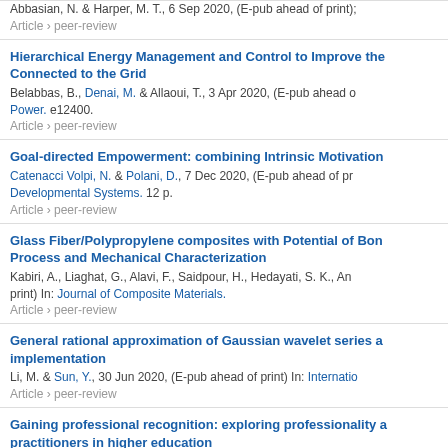Abbasian, N. & Harper, M. T., 6 Sep 2020, (E-pub ahead of print). Article › peer-review
Hierarchical Energy Management and Control to Improve the ... Connected to the Grid. Belabbas, B., Denai, M. & Allaoui, T., 3 Apr 2020, (E-pub ahead of print) In: ... Power. e12400. Article › peer-review
Goal-directed Empowerment: combining Intrinsic Motivation... Catenacci Volpi, N. & Polani, D., 7 Dec 2020, (E-pub ahead of print) In: ... Developmental Systems. 12 p. Article › peer-review
Glass Fiber/Polypropylene composites with Potential of Bon... Process and Mechanical Characterization. Kabiri, A., Liaghat, G., Alavi, F., Saidpour, H., Hedayati, S. K., ... (E-pub ahead of print) In: Journal of Composite Materials. Article › peer-review
General rational approximation of Gaussian wavelet series a... implementation. Li, M. & Sun, Y., 30 Jun 2020, (E-pub ahead of print) In: Internatio... Article › peer-review
Gaining professional recognition: exploring professionality a... practitioners in higher education. Dickerson, C. & Trodd, L., 11 Feb 2020, (E-pub ahead of print) In... Article › peer-review
GOODS-ALMA: Optically dark ALMA galaxies shed light on a... Zhou, L., Elbaz, D., Franco, M., Magnelli, B., Schreiber, C., Wang... Nagar, N., Magdis, G., Alexander, D. M., Béthermin, M., Demarco... Finkelstein, S. L., Giavalisco, M., Inami, H. & 13 others, , 13 Oct... Astrophysics. 642, 17 p., A155. Article › peer-review